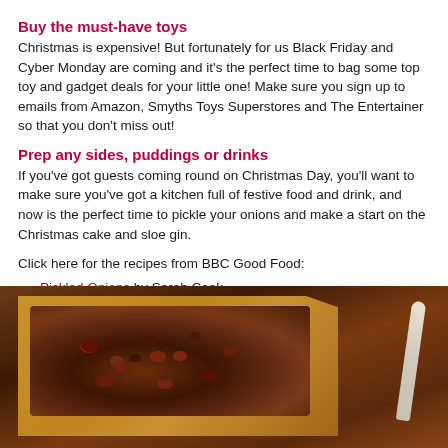Buy the must-have toys
Christmas is expensive! But fortunately for us Black Friday and Cyber Monday are coming and it's the perfect time to bag some top toy and gadget deals for your little one! Make sure you sign up to emails from Amazon, Smyths Toys Superstores and The Entertainer so that you don't miss out!
Prep any sides, puddings or drinks
If you've got guests coming round on Christmas Day, you'll want to make sure you've got a kitchen full of festive food and drink, and now is the perfect time to pickle your onions and make a start on the Christmas cake and sloe gin.
Click here for the recipes from BBC Good Food:
Pickled Onions by Sarah Cook
Make & Mature Christmas Cake by James Martin
Sloe gin by Mary Codogan
[Figure (photo): Photo of a Christmas cake with dark fruit, wrapped in brown paper, with a white spoon visible at the right edge]